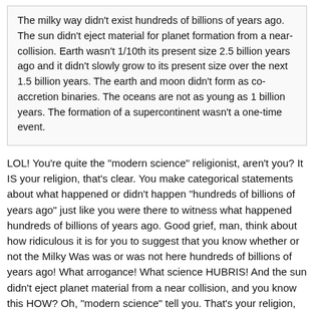The milky way didn't exist hundreds of billions of years ago. The sun didn't eject material for planet formation from a near-collision. Earth wasn't 1/10th its present size 2.5 billion years ago and it didn't slowly grow to its present size over the next 1.5 billion years. The earth and moon didn't form as co-accretion binaries. The oceans are not as young as 1 billion years. The formation of a supercontinent wasn't a one-time event.
LOL! You're quite the "modern science" religionist, aren't you? It IS your religion, that's clear. You make categorical statements about what happened or didn't happen "hundreds of billions of years ago" just like you were there to witness what happened hundreds of billions of years ago. Good grief, man, think about how ridiculous it is for you to suggest that you know whether or not the Milky Was was or was not here hundreds of billions of years ago! What arrogance! What science HUBRIS! And the sun didn't eject planet material from a near collision, and you know this HOW? Oh, "modern science" tell you. That's your religion, and if it turns out to be wrong, you have a lot to lose, just like if the bible turned out NOT to be "God's Word" like the Christians say.